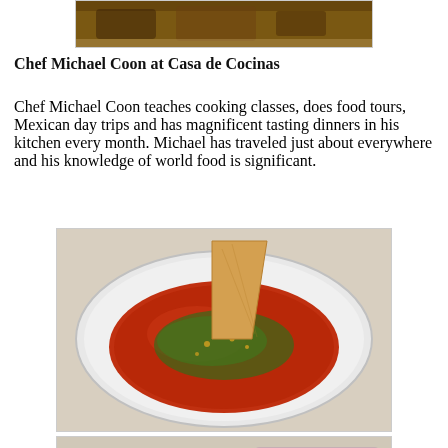[Figure (photo): Top partial food photo — appears to be a grilled or baked meat dish, cropped at top]
Chef Michael Coon at Casa de Cocinas
Chef Michael Coon teaches cooking classes, does food tours, Mexican day trips and has magnificent tasting dinners in his kitchen every month. Michael has traveled just about everywhere and his knowledge of world food is significant.
[Figure (photo): A white decorative bowl containing red tomato-based soup garnished with green herbs and a large tortilla chip standing upright]
[Figure (photo): A white decorative plate with roasted chicken, green beans, and red cabbage slaw with corn]